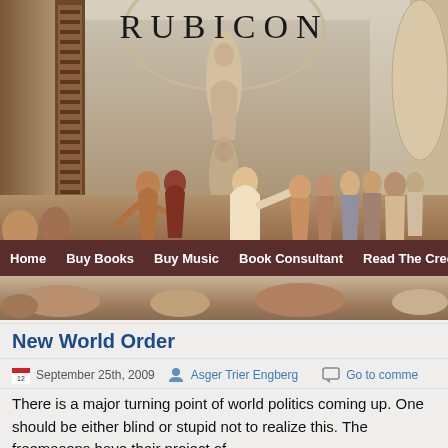[Figure (illustration): Header fresco painting (School of Athens) with 'RUBICON' title text overlaid at top center, showing classical figures in an architectural setting]
Home | Buy Books | Buy Music | Book Consultant | Read The Credo
New World Order
September 25th, 2009  Asger Trier Engberg  Go to comme
There is a major turning point of world politics coming up. One should be either blind or stupid not to realize this. The freemasons have their project of